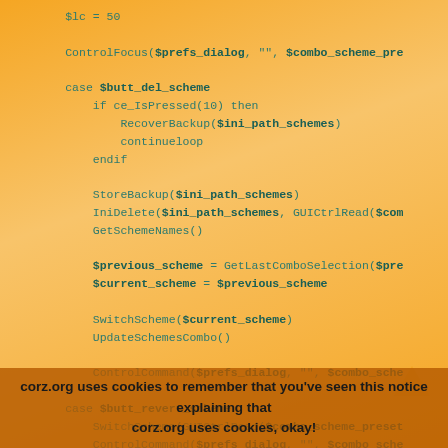$lc = 50

ControlFocus($prefs_dialog, "", $combo_scheme_pre

case $butt_del_scheme

    if ce_IsPressed(10) then
        RecoverBackup($ini_path_schemes)
        continueloop
    endif

    StoreBackup($ini_path_schemes)
    IniDelete($ini_path_schemes, GUICtrlRead($com
    GetSchemeNames()

    $previous_scheme = GetLastComboSelection($pre
    $current_scheme = $previous_scheme

    SwitchScheme($current_scheme)
    UpdateSchemesCombo()

    ControlCommand($prefs_dialog, "", $combo_sche

case $butt_revert_scheme
    SwitchScheme(GUICtrlRead($combo_scheme_preset
    ControlCommand($prefs_dialog, "", $combo_sche

case $butt_save_scheme
corz.org uses cookies to remember that you've seen this notice explaining that corz.org uses cookies, okay!